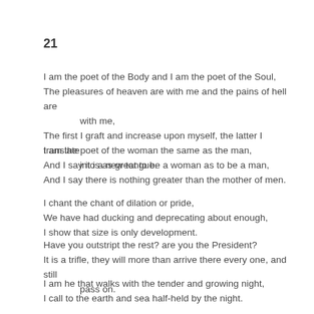21
I am the poet of the Body and I am the poet of the Soul,
The pleasures of heaven are with me and the pains of hell are with me,
The first I graft and increase upon myself, the latter I translate into a new tongue.
I am the poet of the woman the same as the man,
And I say it is as great to be a woman as to be a man,
And I say there is nothing greater than the mother of men.
I chant the chant of dilation or pride,
We have had ducking and deprecating about enough,
I show that size is only development.
Have you outstript the rest? are you the President?
It is a trifle, they will more than arrive there every one, and still pass on.
I am he that walks with the tender and growing night,
I call to the earth and sea half-held by the night.